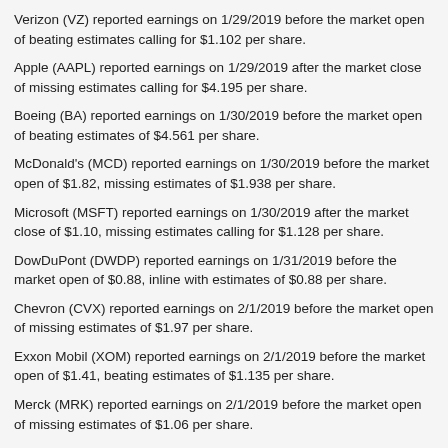Verizon (VZ) reported earnings on 1/29/2019 before the market open of beating estimates calling for $1.102 per share.
Apple (AAPL) reported earnings on 1/29/2019 after the market close of missing estimates calling for $4.195 per share.
Boeing (BA) reported earnings on 1/30/2019 before the market open of beating estimates of $4.561 per share.
McDonald's (MCD) reported earnings on 1/30/2019 before the market open of $1.82, missing estimates of $1.938 per share.
Microsoft (MSFT) reported earnings on 1/30/2019 after the market close of $1.10, missing estimates calling for $1.128 per share.
DowDuPont (DWDP) reported earnings on 1/31/2019 before the market open of $0.88, inline with estimates of $0.88 per share.
Chevron (CVX) reported earnings on 2/1/2019 before the market open of missing estimates of $1.97 per share.
Exxon Mobil (XOM) reported earnings on 2/1/2019 before the market open of $1.41, beating estimates of $1.135 per share.
Merck (MRK) reported earnings on 2/1/2019 before the market open of missing estimates of $1.06 per share.
Disney (DIS) reported earnings on 2/5/2019 after the market close of beating estimates calling for $1.618 per share.